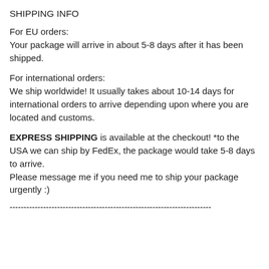SHIPPING INFO
For EU orders:
Your package will arrive in about 5-8 days after it has been shipped.
For international orders:
We ship worldwide! It usually takes about 10-14 days for international orders to arrive depending upon where you are located and customs.
EXPRESS SHIPPING is available at the checkout! *to the USA we can ship by FedEx, the package would take 5-8 days to arrive.
Please message me if you need me to ship your package urgently :)
------------------------------------------------------------------------